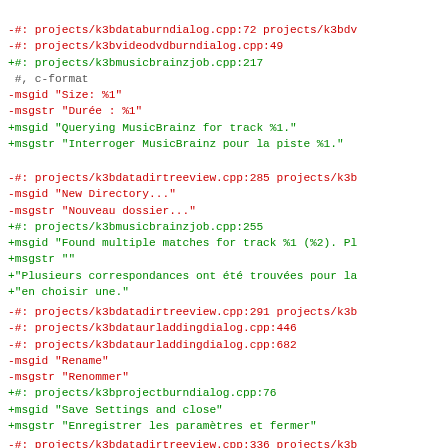-#: projects/k3bdataburndialog.cpp:72 projects/k3bdv
-#: projects/k3bvideodvdburndialog.cpp:49
+#: projects/k3bmusicbrainzjob.cpp:217
 #, c-format
-msgid "Size: %1"
-msgstr "Durée : %1"
+msgid "Querying MusicBrainz for track %1."
+msgstr "Interroger MusicBrainz pour la piste %1."
-#: projects/k3bdatadirtreeview.cpp:285 projects/k3b
-msgid "New Directory..."
-msgstr "Nouveau dossier..."
+#: projects/k3bmusicbrainzjob.cpp:255
+msgid "Found multiple matches for track %1 (%2). Pl
+msgstr ""
+"Plusieurs correspondances ont été trouvées pour la
+"en choisir une."
-#: projects/k3bdatadirtreeview.cpp:291 projects/k3b
-#: projects/k3bdataurladdingdialog.cpp:446
-#: projects/k3bdataurladdingdialog.cpp:682
-msgid "Rename"
-msgstr "Renommer"
+#: projects/k3bprojectburndialog.cpp:76
+msgid "Save Settings and close"
+msgstr "Enregistrer les paramètres et fermer"
-#: projects/k3bdatadirtreeview.cpp:336 projects/k3b
-#: projects/k3bdatadirtreeview.cpp:341 projects/k3b
-#: projects/k3bdatafileview.cpp:381 projects/k3bdat